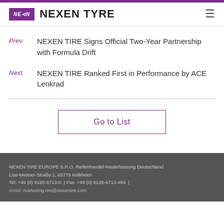NEXEN TYRE
Prev  NEXEN TIRE Signs Official Two-Year Partnership with Formula Drift
Next  NEXEN TIRE Ranked First in Performance by ACE Lenkrad
Go to List
NEXEN TIRE EUROPE S.R.O. Reifenhandel-Niederlassung Deutschland
Lise-Meitner-Straße 1, 65779 Kelkheim
Tel: +49 (0) 6195-6713-0  | Fax: +49 (0) 6195-6713-499  |
eMail: marketing.nte@nexentire.com